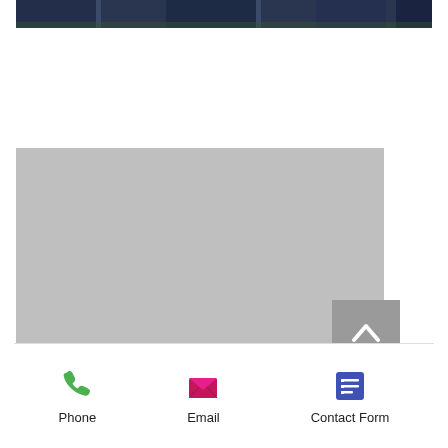[Figure (photo): Bottom portion of a group photo showing people in dark suits standing outdoors]
[Figure (other): Gray placeholder box, likely an embedded map or media element]
[Figure (other): Back to top button with upward chevron arrow on gray background]
[Figure (infographic): Contact bar with three icons: Phone (green telephone icon), Email (pink/magenta envelope icon), Contact Form (purple list icon), with labels below each icon]